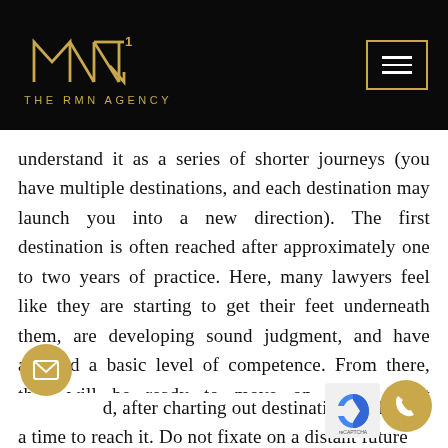[Figure (logo): The RMN Agency logo — geometric gold letterform on black background with text 'THE RMN AGENCY' below]
understand it as a series of shorter journeys (you have multiple destinations, and each destination may launch you into a new direction). The first destination is often reached after approximately one to two years of practice. Here, many lawyers feel like they are starting to get their feet underneath them, are developing sound judgment, and have attained a basic level of competence. From there, they will be ready to move on to the next destination. Start thinking of your career and where you want to go by understanding the destinations you want to reach.
d, after charting out destinations, take one a time to reach it. Do not fixate on a distant future